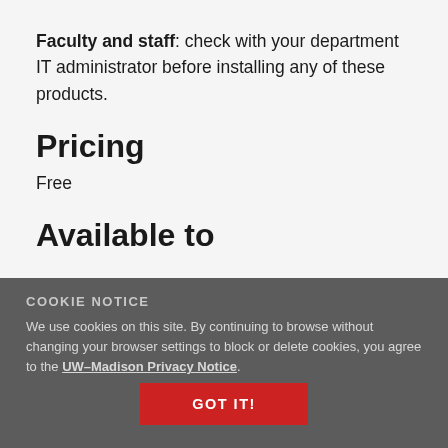Faculty and staff: check with your department IT administrator before installing any of these products.
Pricing
Free
Available to
Faculty
Researchers
Staff
Students
Service category
COOKIE NOTICE
We use cookies on this site. By continuing to browse without changing your browser settings to block or delete cookies, you agree to the UW–Madison Privacy Notice.